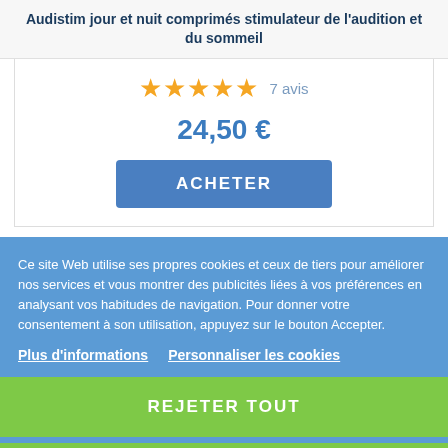Audistim jour et nuit comprimés stimulateur de l'audition et du sommeil
★★★★★  7 avis
24,50 €
ACHETER
Ce site Web utilise ses propres cookies et ceux de tiers pour améliorer nos services et vous montrer des publicités liées à vos préférences en analysant vos habitudes de navigation. Pour donner votre consentement à son utilisation, appuyez sur le bouton Accepter.
Plus d'informations   Personnaliser les cookies
REJETER TOUT
J'ACCEPTE